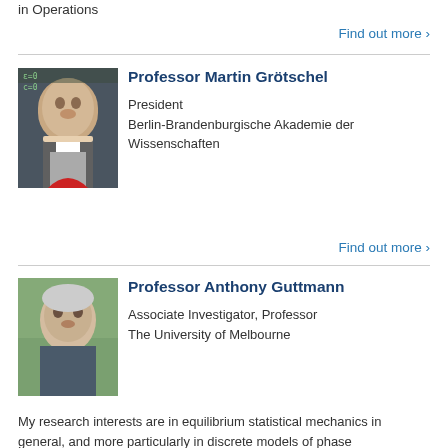in Operations
Find out more ›
Professor Martin Grötschel
President
Berlin-Brandenburgische Akademie der Wissenschaften
Find out more ›
[Figure (photo): Headshot of Professor Martin Grötschel, older man with white hair and beard wearing a suit and red tie, standing in front of a chalkboard]
Professor Anthony Guttmann
[Figure (photo): Headshot of Professor Anthony Guttmann, older man with short grey hair, wearing a casual shirt, outdoors with green blurred background]
Associate Investigator, Professor
The University of Melbourne
My research interests are in equilibrium statistical mechanics in general, and more particularly in discrete models of phase